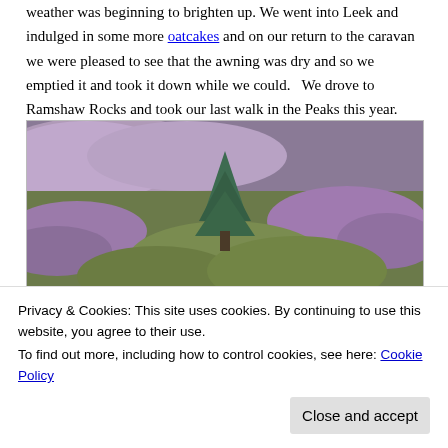weather was beginning to brighten up.  We went into Leek and indulged in some more oatcakes and on our return to the caravan we were pleased to see that the awning was dry and so we emptied it and took it down while we could.   We drove to Ramshaw Rocks and took our last walk in the Peaks this year.
[Figure (photo): A landscape photo of moorland covered with purple heather and green shrubs, with a small conifer tree in the centre and reddish plants in the foreground.]
— I had to take a photo of the colourful plants we
Privacy & Cookies: This site uses cookies. By continuing to use this website, you agree to their use.
To find out more, including how to control cookies, see here: Cookie Policy